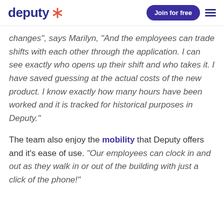deputy [logo] | Join for free [button] | menu [icon]
changes”, says Marilyn, “And the employees can trade shifts with each other through the application. I can see exactly who opens up their shift and who takes it. I have saved guessing at the actual costs of the new product. I know exactly how many hours have been worked and it is tracked for historical purposes in Deputy.”
The team also enjoy the mobility that Deputy offers and it’s ease of use. “Our employees can clock in and out as they walk in or out of the building with just a click of the phone!”